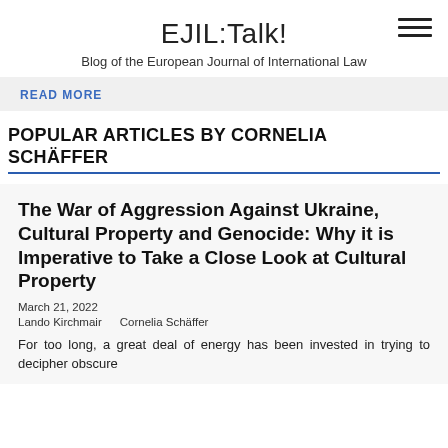EJIL:Talk!
Blog of the European Journal of International Law
READ MORE
POPULAR ARTICLES BY CORNELIA SCHÄFFER
The War of Aggression Against Ukraine, Cultural Property and Genocide: Why it is Imperative to Take a Close Look at Cultural Property
March 21, 2022
Lando Kirchmair    Cornelia Schäffer
For too long, a great deal of energy has been invested in trying to decipher obscure